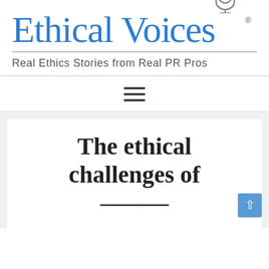[Figure (logo): Ethical Voices logo with microphone icon, blue serif wordmark and registered trademark symbol]
Real Ethics Stories from Real PR Pros
[Figure (other): Hamburger menu icon with three horizontal lines]
The ethical challenges of